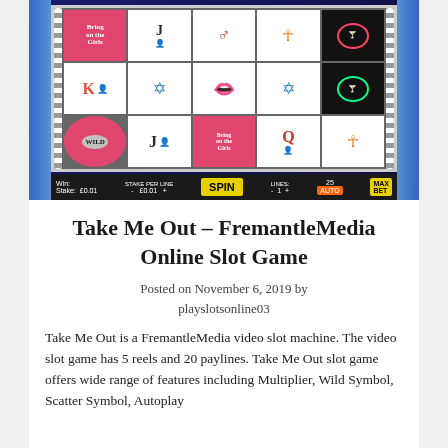[Figure (screenshot): Screenshot of Take Me Out FremantleMedia online slot game showing a 5-reel slot machine with symbols including Wild, Bring on the Girls, letters J, K, Q, lips, stars, and ankh symbols. Bottom bar shows Stake: £0.01, Stake Per Line: £0.01, SPIN button, Lines: 1, 25 AUTO, MAX BET.]
Take Me Out – FremantleMedia Online Slot Game
Posted on November 6, 2019 by playslotsonline03
Take Me Out is a FremantleMedia video slot machine. The video slot game has 5 reels and 20 paylines. Take Me Out slot game offers wide range of features including Multiplier, Wild Symbol, Scatter Symbol, Autoplay